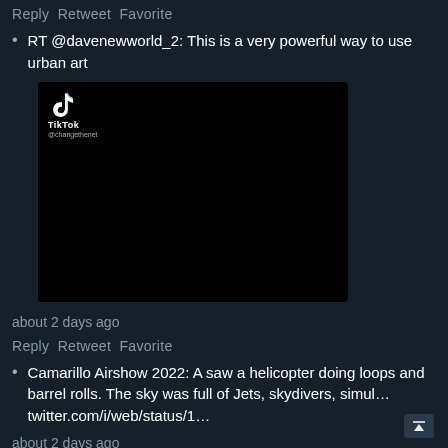Reply Retweet Favorite
RT @davenewworld_2: This is a very powerful way to use urban art
[Figure (screenshot): Embedded TikTok video player showing a black screen with TikTok logo and @changethenet handle in top left corner]
about 2 days ago
Reply Retweet Favorite
Camarillo Airshow 2022: A saw a helicopter doing loops and barrel rolls. The sky was full of Jets, skydivers, simul… twitter.com/i/web/status/1…
about 2 days ago
Reply Retweet Favorite
RT @petrinkae: this is. dark